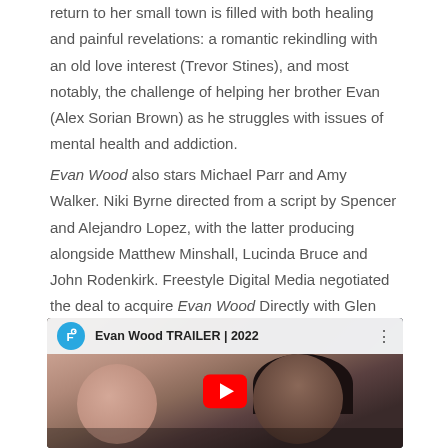return to her small town is filled with both healing and painful revelations: a romantic rekindling with an old love interest (Trevor Stines), and most notably, the challenge of helping her brother Evan (Alex Sorian Brown) as he struggles with issues of mental health and addiction.
Evan Wood also stars Michael Parr and Amy Walker. Niki Byrne directed from a script by Spencer and Alejandro Lopez, with the latter producing alongside Matthew Minshall, Lucinda Bruce and John Rodenkirk. Freestyle Digital Media negotiated the deal to acquire Evan Wood Directly with Glen Reynolds of Circus Road Films. Check out the film's trailer below.
[Figure (screenshot): YouTube video embed showing 'Evan Wood TRAILER | 2022' with a Freestyle Digital Media logo (blue circle with F), a still of two people in an intimate pose, and a red YouTube play button in the center.]